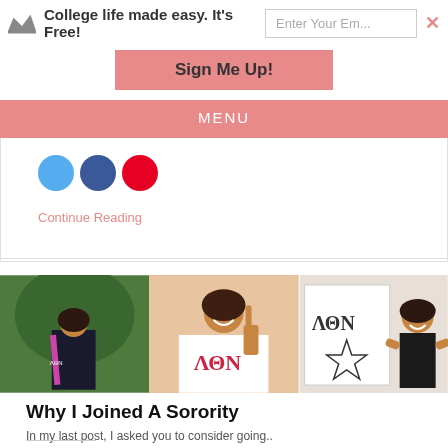College life made easy. It's Free!
Sign Me Up!
MENU
Continue Reading
[Figure (photo): Three photos side by side: a young woman in graduation attire with sorority sash, a young woman smiling in a sorority t-shirt giving a hand sign, and a woman standing next to a Lambda Theta Nu (ΛΘΝ) banner.]
Why I Joined A Sorority
In my last post, I asked you to consider going..